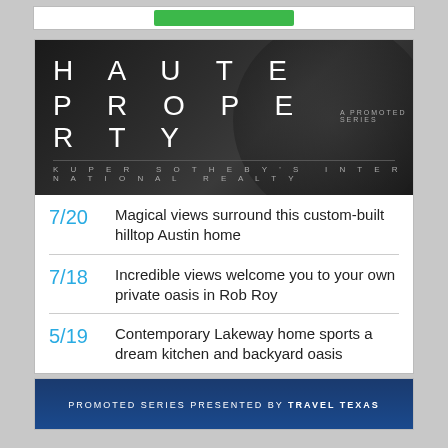[Figure (logo): Haute Property — A Promoted Series — Kuper Sotheby's International Realty banner on dark background]
7/20  Magical views surround this custom-built hilltop Austin home
7/18  Incredible views welcome you to your own private oasis in Rob Roy
5/19  Contemporary Lakeway home sports a dream kitchen and backyard oasis
[Figure (photo): Promoted series presented by Travel Texas — blue banner with text]